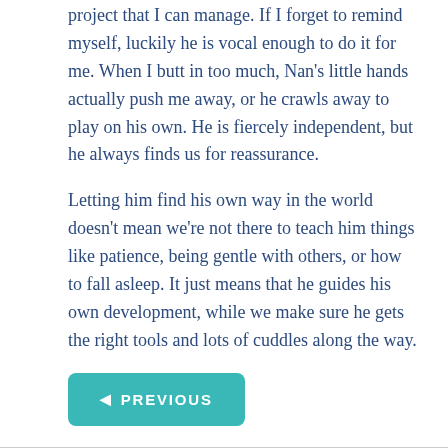project that I can manage. If I forget to remind myself, luckily he is vocal enough to do it for me. When I butt in too much, Nan's little hands actually push me away, or he crawls away to play on his own. He is fiercely independent, but he always finds us for reassurance.
Letting him find his own way in the world doesn't mean we're not there to teach him things like patience, being gentle with others, or how to fall asleep. It just means that he guides his own development, while we make sure he gets the right tools and lots of cuddles along the way.
◄ PREVIOUS